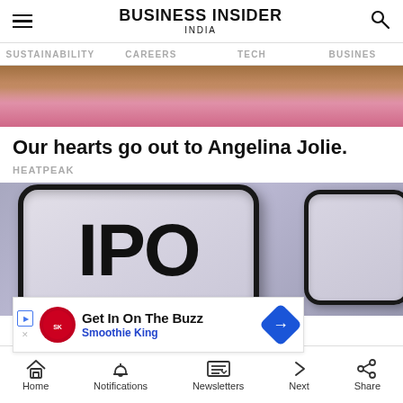BUSINESS INSIDER INDIA
SUSTAINABILITY   CAREERS   TECH   BUSINES
[Figure (photo): Cropped close-up photo of a woman's face showing hair and lips, presumably Angelina Jolie]
Our hearts go out to Angelina Jolie.
HEATPEAK
[Figure (photo): Close-up photo of keyboard keys with 'IPO' text on the main key, on a grey/purple background]
Get In On The Buzz
Smoothie King
Home   Notifications   Newsletters   Next   Share